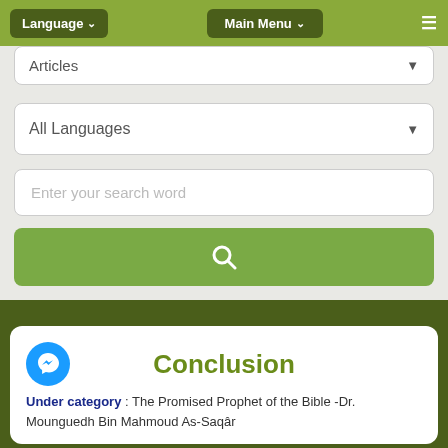Language  Main Menu  ≡
Articles
All Languages
Enter your search word
[Figure (screenshot): Green search button with magnifying glass icon]
[Figure (logo): Facebook Messenger blue circle icon]
Conclusion
Under category : The Promised Prophet of the Bible -Dr. Mounguedh Bin Mahmoud As-Saqâr